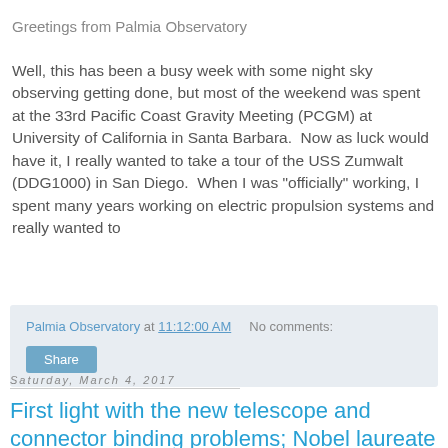Greetings from Palmia Observatory
Well, this has been a busy week with some night sky observing getting done, but most of the weekend was spent at the 33rd Pacific Coast Gravity Meeting (PCGM) at University of California in Santa Barbara.  Now as luck would have it, I really wanted to take a tour of the USS Zumwalt (DDG1000) in San Diego.  When I was "officially" working, I spent many years working on electric propulsion systems and really wanted to
Palmia Observatory at 11:12:00 AM   No comments:
Share
Saturday, March 4, 2017
First light with the new telescope and connector binding problems; Nobel laureate Art McDonald lectures;